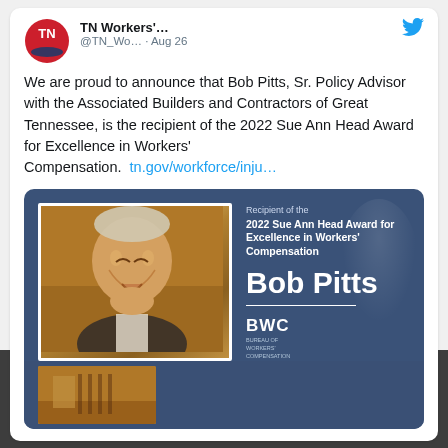TN Workers'... @TN_Wo... · Aug 26
We are proud to announce that Bob Pitts, Sr. Policy Advisor with the Associated Builders and Contractors of Great Tennessee, is the recipient of the 2022 Sue Ann Head Award for Excellence in Workers' Compensation. tn.gov/workforce/inju…
[Figure (photo): Award announcement graphic for Bob Pitts, recipient of the 2022 Sue Ann Head Award for Excellence in Workers' Compensation, with a photo of an older man laughing, on a blue background, and a BWC logo. A second smaller photo strip is partially visible at the bottom.]
Social media icons: LinkedIn, Facebook, Twitter, Instagram, YouTube